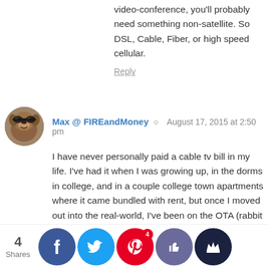video-conference, you'll probably need something non-satellite. So DSL, Cable, Fiber, or high speed cellular.
Reply
Max @ FIREandMoney  August 17, 2015 at 2:50 pm
I have never personally paid a cable tv bill in my life. I've had it when I was growing up, in the dorms in college, and in a couple college town apartments where it came bundled with rent, but once I moved out into the real-world, I've been on the OTA (rabbit ears) band wagon since 2010!

I am a big football fan and personally, I use a mix of rabbit ears, a PS3, and a Google Chromecast. Rabbit ears for OTA network channels, the PS3 for Netflix, Crackle, and Amazon Prime Streaming, and I use the Chromecast for the Youtube App, and the one that always amazes people...dun, dun, dun....the WatchESPN app!

The key to using the WatchESPN app to watch live sports is to use a close friend or family member's log-in....some might say it's cheating, but I say it's smart and the resources around those I'm talk about do
4 Shares